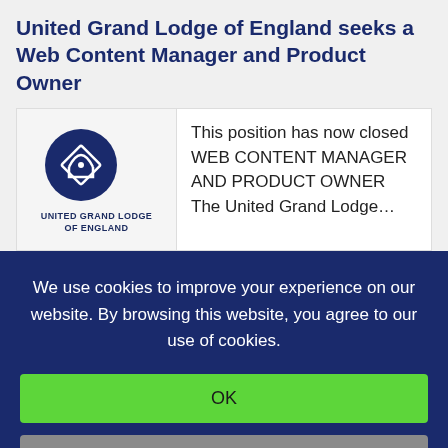United Grand Lodge of England seeks a Web Content Manager and Product Owner
[Figure (logo): United Grand Lodge of England logo — a compass/square Masonic emblem above the text UNITED GRAND LODGE OF ENGLAND]
This position has now closed WEB CONTENT MANAGER AND PRODUCT OWNER The United Grand Lodge…
We use cookies to improve your experience on our website. By browsing this website, you agree to our use of cookies.
OK
More Info
Decline